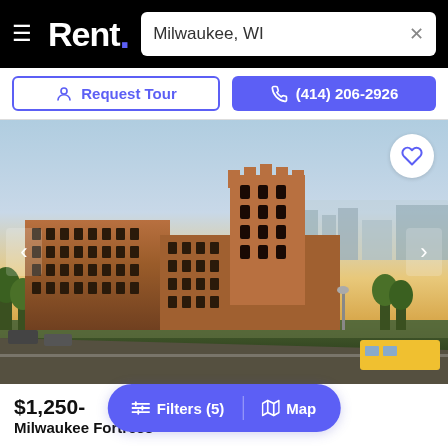Rent. — Milwaukee, WI
Request Tour | (414) 206-2926
[Figure (photo): Aerial photograph of Milwaukee Fortress, a large historic red-brick multi-story building with a castle-like tower, photographed at dusk with city surroundings]
$1,250-
Milwaukee Fortress
Filters (5) | Map